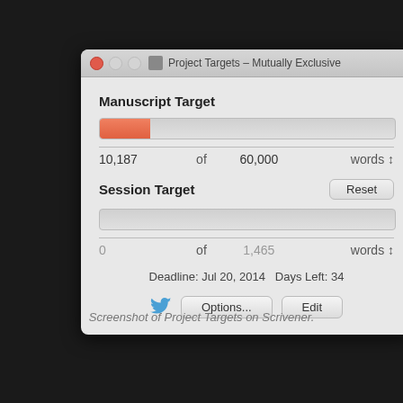[Figure (screenshot): macOS application window titled 'Project Targets – Mutually Exclusive' showing a Scrivener Project Targets dialog. It contains a Manuscript Target section with an orange progress bar showing 10,187 of 60,000 words, and a Session Target section with an empty progress bar showing 0 of 1,465 words, a Reset button, Deadline: Jul 20, 2014, Days Left: 34, and Options... and Edit buttons with a Twitter bird icon.]
Screenshot of Project Targets on Scrivener.